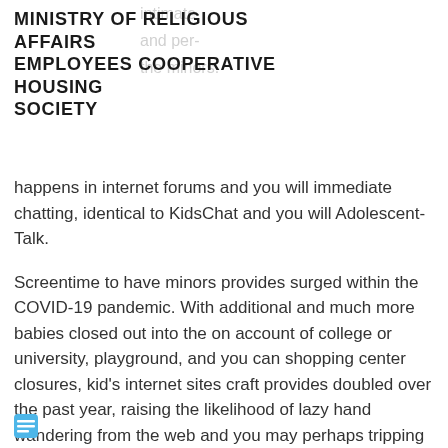MINISTRY OF RELIGIOUS AFFAIRS EMPLOYEES COOPERATIVE HOUSING SOCIETY
happens in internet forums and you will immediate chatting, identical to KidsChat and you will Adolescent-Talk.
Screentime to have minors provides surged within the COVID-19 pandemic. With additional and much more babies closed out into the on account of college or university, playground, and you can shopping center closures, kid's internet sites craft provides doubled over the past year, raising the likelihood of lazy hand wandering from the web and you may perhaps tripping toward chat rooms such KidsChat with the expectation of making particular family.